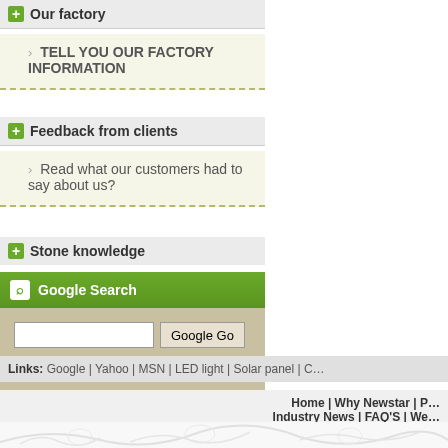Our factory
TELL YOU OUR FACTORY INFORMATION
Feedback from clients
Read what our customers had to say about us?
Stone knowledge
Google Search
Web (selected) Newstar Stone | Bath slate Stone
Links: Google | Yahoo | MSN | LED light | Solar panel | C...
Home | Why Newstar | P... | Industry News | FAQ'S | We...